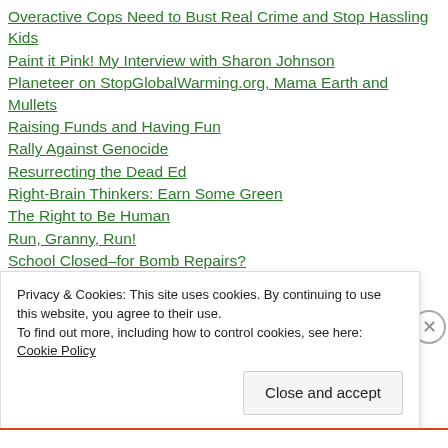Overactive Cops Need to Bust Real Crime and Stop Hassling Kids
Paint it Pink! My Interview with Sharon Johnson
Planeteer on StopGlobalWarming.org, Mama Earth and Mullets
Raising Funds and Having Fun
Rally Against Genocide
Resurrecting the Dead Ed
Right-Brain Thinkers: Earn Some Green
The Right to Be Human
Run, Granny, Run!
School Closed–for Bomb Repairs?
Seeing is Believing!
Send Ol...
Privacy & Cookies: This site uses cookies. By continuing to use this website, you agree to their use. To find out more, including how to control cookies, see here: Cookie Policy
Close and accept